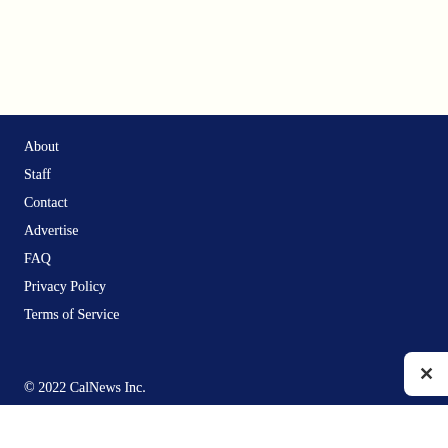About
Staff
Contact
Advertise
FAQ
Privacy Policy
Terms of Service
© 2022 CalNews Inc.